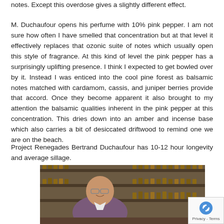notes. Except this overdose gives a slightly different effect.
M. Duchaufour opens his perfume with 10% pink pepper. I am not sure how often I have smelled that concentration but at that level it effectively replaces that ozonic suite of notes which usually open this style of fragrance. At this kind of level the pink pepper has a surprisingly uplifting presence. I think I expected to get bowled over by it. Instead I was enticed into the cool pine forest as balsamic notes matched with cardamom, cassis, and juniper berries provide that accord. Once they become apparent it also brought to my attention the balsamic qualities inherent in the pink pepper at this concentration. This dries down into an amber and incense base which also carries a bit of desiccated driftwood to remind one we are on the beach.
Project Renegades Bertrand Duchaufour has 10-12 hour longevity and average sillage.
[Figure (photo): Photo of a bald man (Bertrand Duchaufour) smiling, seated in front of shelves lined with amber glass perfume bottles in a shop or studio setting.]